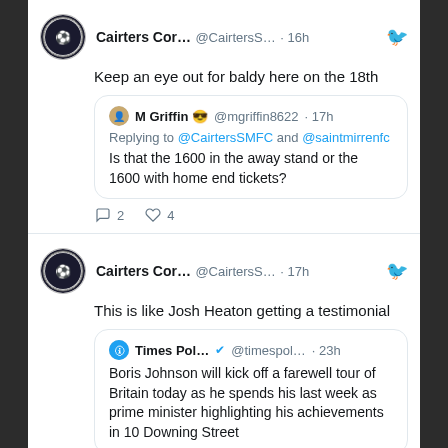Cairters Cor... @CairtersS... · 16h — Keep an eye out for baldy here on the 18th
M Griffin 😎 @mgriffin8622 · 17h — Replying to @CairtersSMFC and @saintmirrenfc — Is that the 1600 in the away stand or the 1600 with home end tickets?
Reply: 2, Like: 4
Cairters Cor... @CairtersS... · 17h — This is like Josh Heaton getting a testimonial
Times Pol... @timespol... · 23h — Boris Johnson will kick off a farewell tour of Britain today as he spends his last week as prime minister highlighting his achievements in 10 Downing Street